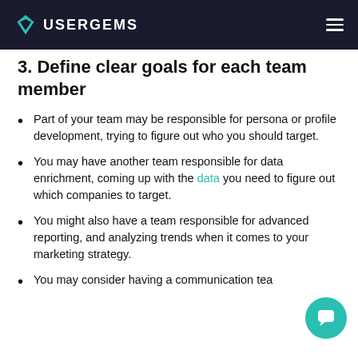USERGEMS
3. Define clear goals for each team member
Part of your team may be responsible for persona or profile development, trying to figure out who you should target.
You may have another team responsible for data enrichment, coming up with the data you need to figure out which companies to target.
You might also have a team responsible for advanced reporting, and analyzing trends when it comes to your marketing strategy.
You may consider having a communication team...